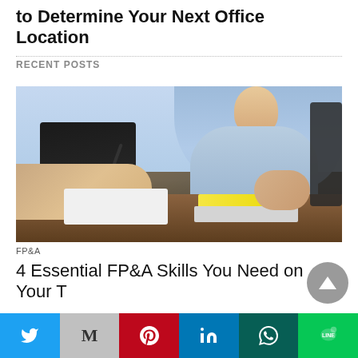to Determine Your Next Office Location
RECENT POSTS
[Figure (photo): Two business people at a desk; one in foreground writing in notebook, one in background at laptop]
FP&A
4 Essential FP&A Skills You Need on Your T...
[Figure (other): Social sharing bar with Twitter, Gmail, Pinterest, LinkedIn, WhatsApp, Line buttons]